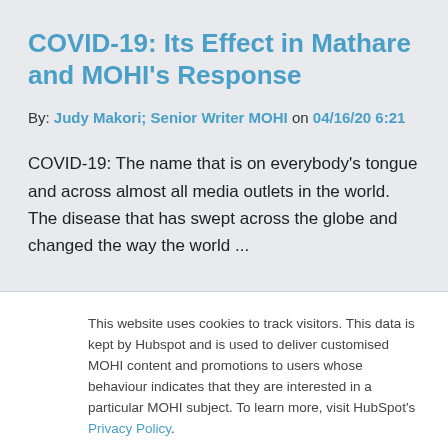COVID-19: Its Effect in Mathare and MOHI’s Response
By: Judy Makori; Senior Writer MOHI on 04/16/20 6:21
COVID-19: The name that is on everybody’s tongue and across almost all media outlets in the world. The disease that has swept across the globe and changed the way the world ...
This website uses cookies to track visitors. This data is kept by Hubspot and is used to deliver customised MOHI content and promotions to users whose behaviour indicates that they are interested in a particular MOHI subject. To learn more, visit HubSpot’s Privacy Policy.
Accept
Decline